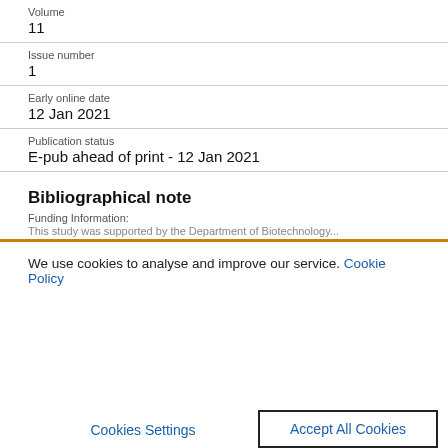Volume
11
Issue number
1
Early online date
12 Jan 2021
Publication status
E-pub ahead of print - 12 Jan 2021
Bibliographical note
Funding Information:
This study was supported by the Department of Biotechnology...
We use cookies to analyse and improve our service. Cookie Policy
Cookies Settings
Accept All Cookies